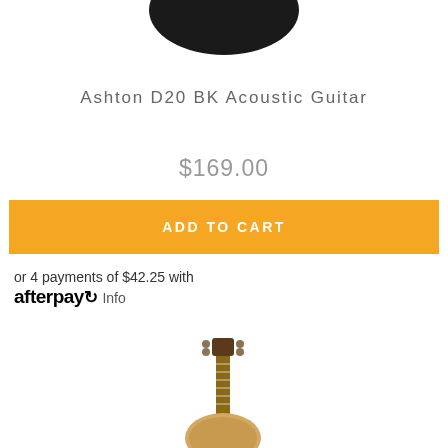[Figure (photo): Partial view of a black acoustic guitar headstock cropped at the top of the page]
Ashton D20 BK Acoustic Guitar
$169.00
ADD TO CART
or 4 payments of $42.25 with afterpay Info
[Figure (photo): Acoustic guitar with natural wood finish shown from the neck/headstock area down toward the body, cropped at the bottom of the page]